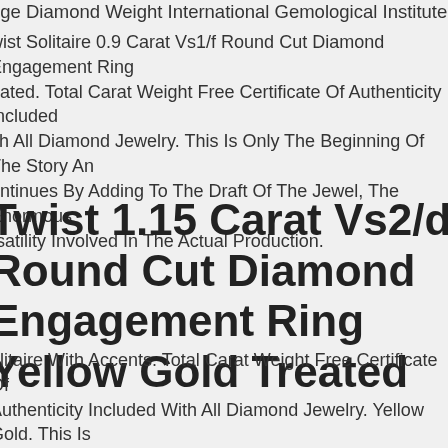nge Diamond Weight International Gemological Institute.
wist Solitaire 0.9 Carat Vs1/f Round Cut Diamond Engagement Ring eated. Total Carat Weight Free Certificate Of Authenticity Included ith All Diamond Jewelry. This Is Only The Beginning Of The Story An ontinues By Adding To The Draft Of The Jewel, The Enormous rsatility Involved In The Actual Production.
Twist 1.15 Carat Vs2/d Round Cut Diamond Engagement Ring Yellow Gold Treated
olitaire With Accents. Total Carat Weight Free Certificate Of Authenticity Included With All Diamond Jewelry. Yellow Gold. This Is Only The Beginning Of The Story And Continues By Adding To The raft Of The Jewel, The Enormous Versatility Involved In The Actual roduction.